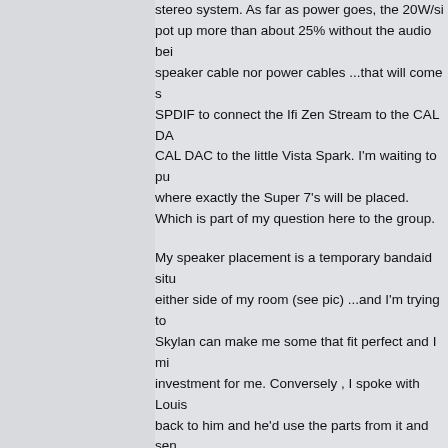stereo system.  As far as power goes, the 20W/si pot up more than about 25% without the audio bei speaker cable nor power cables ...that will come s SPDIF to connect the Ifi Zen Stream to the CAL DA CAL DAC to the little Vista Spark.  I'm waiting to p where exactly the Super 7's will be placed. Which is part of my question here to the group.
My speaker placement is a temporary bandaid situ either side of my room (see pic) ...and I'm trying to Skylan can make me some that fit perfect and I mi investment for me.  Conversely , I spoke with Louis back to him and he'd use the parts from it and sen footprint as the Super 7's....essentially using the su (FYI, the original Super 7's are 10'W x 14"D x 18"H
At this point I'm leaning towards stands rather than
From what I understand , the optimal stand height
In the photos attached, there is an acoustic guitar . the optimal place for the Super 7's would be and s the monitors should be.  Currently they are way too opposite side of the room.
I have a lot of LP's and bringing in a turntable is th